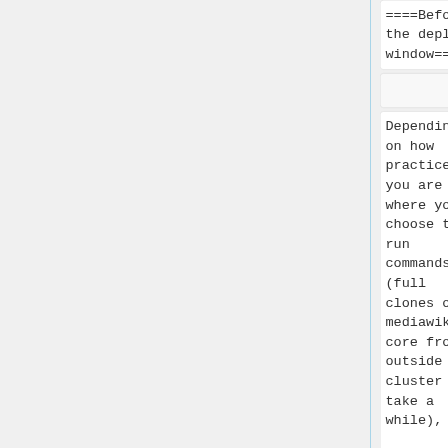====Before the deploy window====
====Before the deploy window====
Depending on how practiced you are and where you choose to run commands (full clones of mediawiki-core from outside the cluster can take a while), the
Depending on how practiced you are and where you choose to run commands (full clones of mediawiki-core from outside the cluster can take a while), the